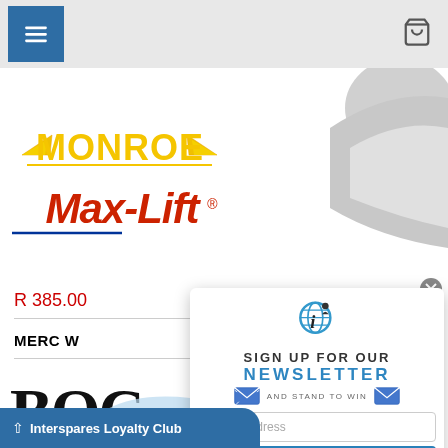[Figure (screenshot): Navigation bar with hamburger menu button (blue) on left and shopping cart icon on right, on gray background]
[Figure (logo): Monroe Max-Lift product logo - yellow MONROE text with wings and red Max-Lift script text below]
[Figure (photo): Partial product image (shock absorber) visible on right side, gray/silver colored]
R 385.00
MERC W
[Figure (logo): BOC logo partially visible on lower left]
[Figure (infographic): Newsletter signup popup modal with i-logo globe icon, SIGN UP FOR OUR NEWSLETTER AND STAND TO WIN text, email envelope icons, email address input field, and SIGN UP! button]
Interspares Loyalty Club